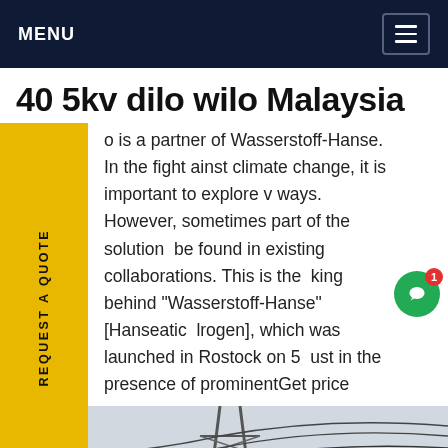MENU
40 5kv dilo wilo Malaysia
is a partner of Wasserstoff-Hanse. In the fight ainst climate change, it is important to explore v ways. However, sometimes part of the solution be found in existing collaborations. This is the king behind "Wasserstoff-Hanse" [Hanseatic lrogen], which was launched in Rostock on 5 ust in the presence of prominentGet price
[Figure (photo): Photograph of electrical power lines, a transmission tower, and rooftops with a helicopter visible in the lower left. A yellow equipment structure is visible on the right. The sky is overcast.]